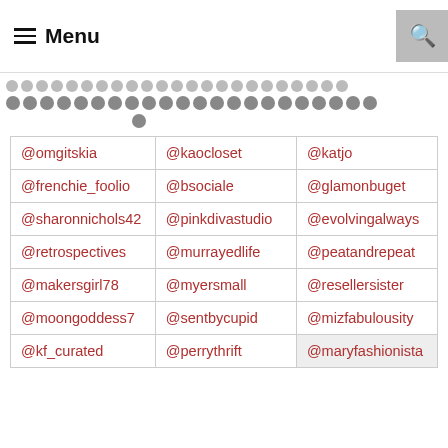☰ Menu
[Figure (other): Pagination dots: two rows of gray circles used as a carousel/pagination indicator]
| @omgitskia | @kaocloset | @katjo |
| @frenchie_foolio | @bsociale | @glamonbuget |
| @sharonnichols42 | @pinkdivastudio | @evolvingalways |
| @retrospectives | @murrayedlife | @peatandrepeat |
| @makersgirl78 | @myersmall | @resellersister |
| @moongoddess7 | @sentbycupid | @mizfabulousity |
| @kf_curated | @perrythrift | @maryfashionista |